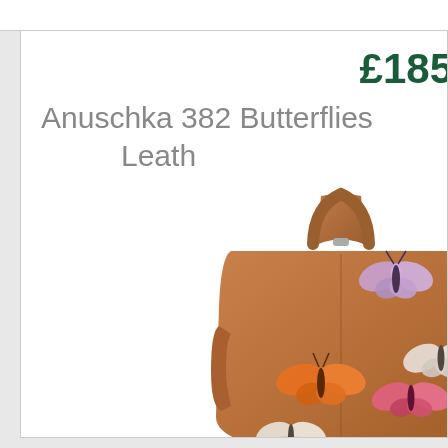£185
Anuschka 382 Butterflies Leath
[Figure (photo): A tan/cognac leather handbag (Anuschka 382) decorated with colorful hand-painted butterfly appliques. The bag has a top handle, zipper closure, and side pockets. Multiple butterflies in orange, pink, purple, and white are visible on the front of the bag.]